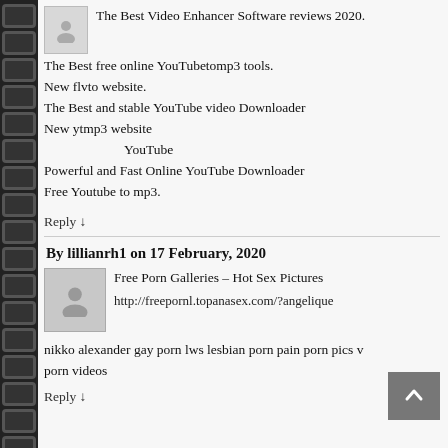The Best Video Enhancer Software reviews 2020.
The Best free online YouTubetomp3 tools.
New flvto website.
The Best and stable YouTube video Downloader
New ytmp3 website
    YouTube
Powerful and Fast Online YouTube Downloader
Free Youtube to mp3.
Reply ↓
By lillianrh1 on 17 February, 2020
Free Porn Galleries – Hot Sex Pictures
http://freepornl.topanasex.com/?angelique
nikko alexander gay porn lws lesbian porn pain porn pics v porn videos
Reply ↓